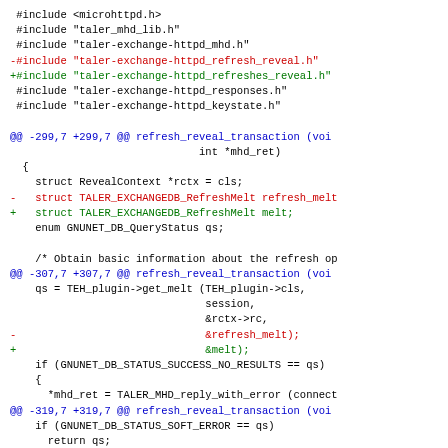[Figure (other): Code diff showing changes to C source files, including include directives and function body changes for refresh_reveal_transaction. Removed lines in red, added lines in green, hunk headers in blue.]